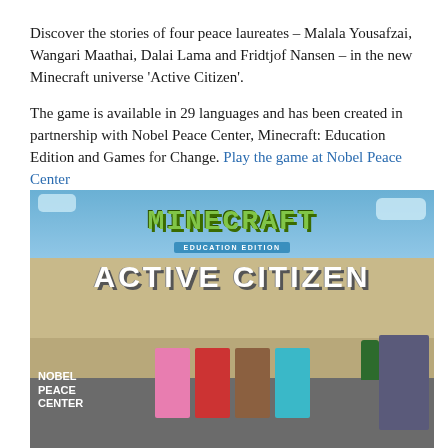Discover the stories of four peace laureates – Malala Yousafzai, Wangari Maathai, Dalai Lama and Fridtjof Nansen – in the new Minecraft universe 'Active Citizen'.
The game is available in 29 languages and has been created in partnership with Nobel Peace Center, Minecraft: Education Edition and Games for Change. Play the game at Nobel Peace Center
[Figure (screenshot): Minecraft Education Edition screenshot showing 'Active Citizen' universe with Minecraft-style characters representing peace laureates standing in front of a building resembling the Nobel Peace Center. The Minecraft Education Edition logo and 'ACTIVE CITIZEN' title text are displayed prominently. 'NOBEL PEACE CENTER' text appears in the lower left corner.]